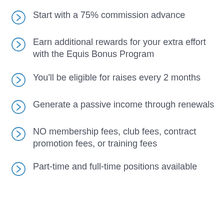Start with a 75% commission advance
Earn additional rewards for your extra effort with the Equis Bonus Program
You'll be eligible for raises every 2 months
Generate a passive income through renewals
NO membership fees, club fees, contract promotion fees, or training fees
Part-time and full-time positions available